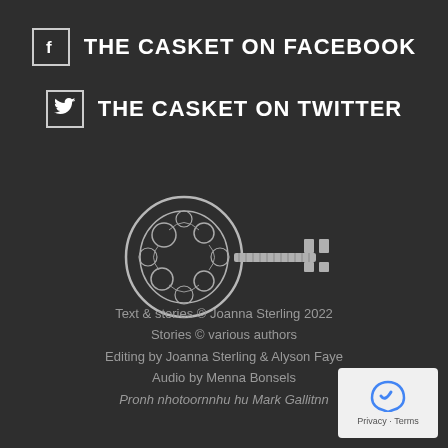THE CASKET ON FACEBOOK
THE CASKET ON TWITTER
[Figure (illustration): Ornate silver skeleton key with filigree bow, photographed on dark background]
Text & stories © Joanna Sterling 2022
Stories © various authors
Editing by Joanna Sterling & Alyson Faye
Audio by Menna Bonsels
Proonh nhotoornnhu hu Mark Gallitnn
[Figure (other): reCAPTCHA Privacy - Terms badge]